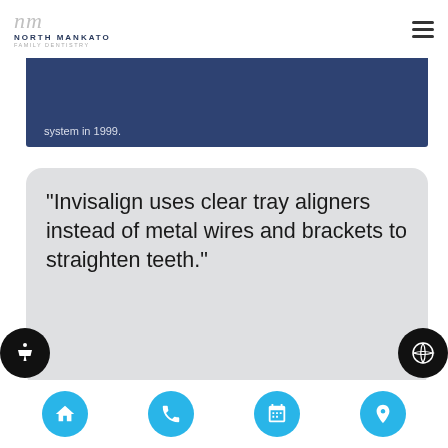NORTH MANKATO FAMILY DENTISTRY
system in 1999.
“Invisalign uses clear tray aligners instead of metal wires and brackets to straighten teeth.”